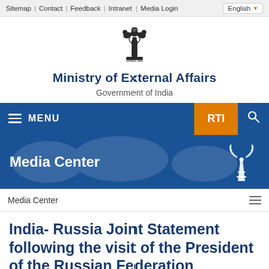Sitemap | Contact | Feedback | Intranet | Media Login | English
[Figure (logo): Emblem of India (Ashoka pillar with lions) with text 'सत्यमेव जयते']
Ministry of External Affairs
Government of India
MENU
RTI
Media Center
Media Center
India- Russia Joint Statement following the visit of the President of the Russian Federation